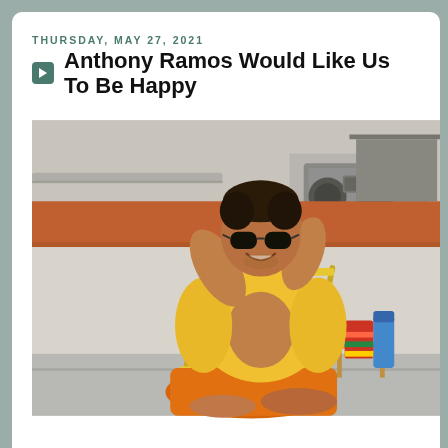THURSDAY, MAY 27, 2021
Anthony Ramos Would Like Us To Be Happy
[Figure (photo): Anthony Ramos reclining on a yellow lawn chair on a rooftop, wearing sunglasses, a yellow open shirt, and orange shorts, with a boombox and sunscreen visible in the background]